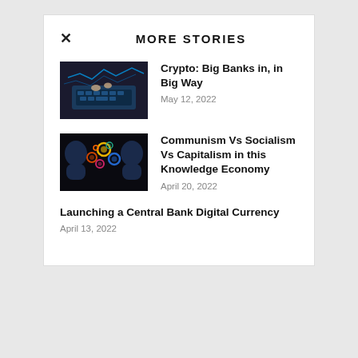MORE STORIES
[Figure (photo): Hands typing on a glowing keyboard in dark setting with digital wave graphics]
Crypto: Big Banks in, in Big Way
May 12, 2022
[Figure (photo): Two human head silhouettes facing each other with colorful gear cogs floating between them on dark background]
Communism Vs Socialism Vs Capitalism in this Knowledge Economy
April 20, 2022
Launching a Central Bank Digital Currency
April 13, 2022